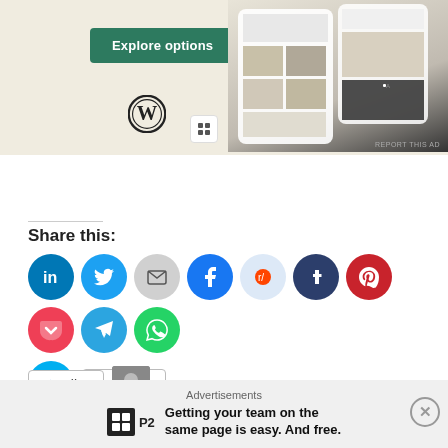[Figure (screenshot): WordPress website builder ad with green Explore options button and WordPress logo, showing phone mockup with website images]
REPORT THIS AD
Share this:
[Figure (infographic): Social share buttons: LinkedIn, Twitter, Email, Facebook, Reddit, Tumblr, Pinterest, Pocket, Telegram, WhatsApp, Skype, and More button]
[Figure (infographic): Like button with star icon and blogger avatar thumbnail]
One blogger likes this.
Advertisements
[Figure (infographic): P2 advertisement: Getting your team on the same page is easy. And free.]